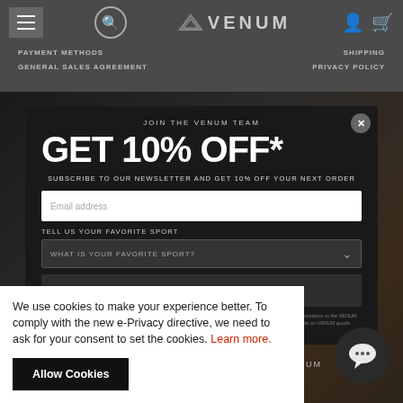[Figure (screenshot): Venum website header with hamburger menu, search icon, Venum logo, user icon and cart icon. Navigation links: PAYMENT METHODS, SHIPPING, GENERAL SALES AGREEMENT, PRIVACY POLICY]
[Figure (screenshot): Popup modal on Venum website with JOIN THE VENUM TEAM header, GET 10% OFF* large text, newsletter subscription form with email address field, favorite sport dropdown, and JOIN THE TEAM! button. Background shows MMA fighter image.]
JOIN THE VENUM TEAM
GET 10% OFF*
SUBSCRIBE TO OUR NEWSLETTER AND GET 10% OFF YOUR NEXT ORDER
Email address
TELL US YOUR FAVORITE SPORT
WHAT IS YOUR FAVORITE SPORT?
JOIN THE TEAM!
By clicking on "Join the team!", you have read and accepted VENUM's general Sales Agreement and confirmed your subscription to the VENUM newsletter. Moreover and within a period of 6 months as from your registration, VENUM will offer you a 10% discount code on VENUM goods (punching bag, etc) for a limited time
We use cookies to make your experience better. To comply with the new e-Privacy directive, we need to ask for your consent to set the cookies. Learn more.
Allow Cookies
PAYMENT METHODS   SHIPPING   GENERAL SALES AGREEMENT   PRIVACY POLICY